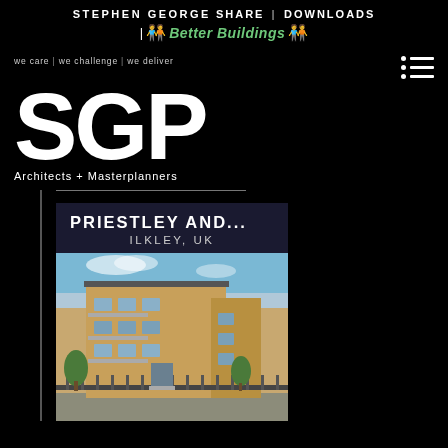STEPHEN GEORGE SHARE | DOWNLOADS | Better Buildings
we care | we challenge | we deliver
SGP
Architects + Masterplanners
PRIESTLEY AND... ILKLEY, UK
[Figure (photo): Exterior photo of a modern residential apartment building with brick and render cladding, balconies with glass railings, and landscaping. Located in Ilkley, UK.]